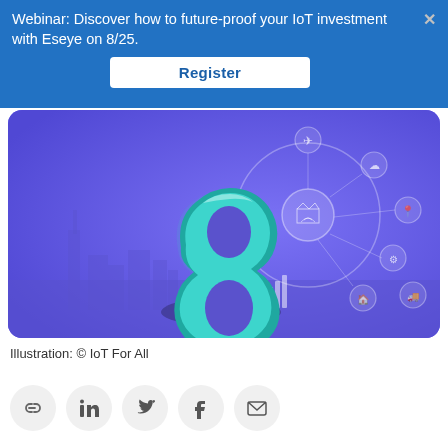Webinar: Discover how to future-proof your IoT investment with Eseye on 8/25.
Register
[Figure (illustration): 3D teal number 8 on purple/violet background with IoT network icons (airplane, cloud, location pin, factory, truck, signal bars, etc.) and city skyline silhouette]
Illustration: © IoT For All